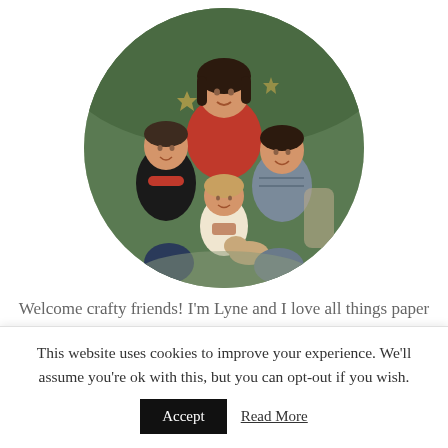[Figure (photo): Circular cropped family photo showing a woman in red top standing behind two children and a man seated, with evergreen trees in background, holiday/Christmas setting]
Welcome crafty friends! I'm Lyne and I love all things paper related. I primarily create scrapbook pages, but I hope to inspire your cards and off the page projects as well. Our shop carries many supplies for all your
This website uses cookies to improve your experience. We'll assume you're ok with this, but you can opt-out if you wish.